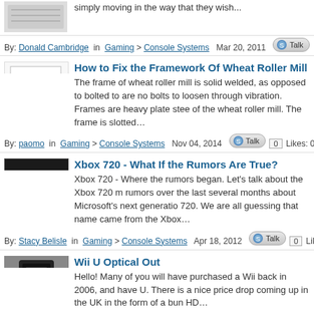simply moving in the way that they wish...
By: Donald Cambridge in Gaming > Console Systems  Mar 20, 2011  Talk
How to Fix the Framework Of Wheat Roller Mill
The frame of wheat roller mill is solid welded, as opposed to bolted to are no bolts to loosen through vibration. Frames are heavy plate stee of the wheat roller mill. The frame is slotted...
By: paomo in Gaming > Console Systems  Nov 04, 2014  Talk  0  Likes: 0
Xbox 720 - What If the Rumors Are True?
Xbox 720 - Where the rumors began. Let’s talk about the Xbox 720 m rumors over the last several months about Microsoft's next generatio 720. We are all guessing that name came from the Xbox...
By: Stacy Belisle in Gaming > Console Systems  Apr 18, 2012  Talk  0  Lik
Wii U Optical Out
Hello! Many of you will have purchased a Wii back in 2006, and have U. There is a nice price drop coming up in the UK in the form of a bun HD...
By: Fabian2 in Gaming > Console Systems  Sep 06, 2013  Talk  0  Likes: